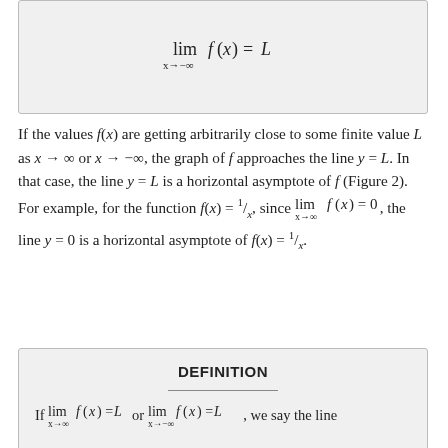If the values f(x) are getting arbitrarily close to some finite value L as x → ∞ or x → −∞, the graph of f approaches the line y = L. In that case, the line y = L is a horizontal asymptote of f (Figure 2). For example, for the function f(x) = 1/x, since lim_{x→∞} f(x) = 0, the line y = 0 is a horizontal asymptote of f(x) = 1/x.
DEFINITION
If lim_{x→∞} f(x) = L or lim_{x→−∞} f(x) = L, we say the line